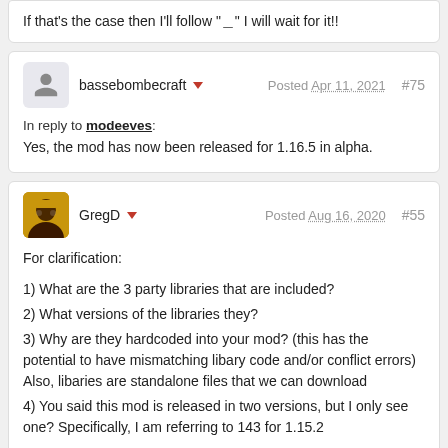If that's the case then I'll follow "_" I will wait for it!!
bassebombecraft | Posted Apr 11, 2021 | #75
In reply to modeeves: Yes, the mod has now been released for 1.16.5 in alpha.
GregD | Posted Aug 16, 2020 | #55
For clarification:

1) What are the 3 party libraries that are included?
2) What versions of the libraries they?
3) Why are they hardcoded into your mod? (this has the potential to have mismatching libary code and/or conflict errors) Also, libaries are standalone files that we can download
4) You said this mod is released in two versions, but I only see one? Specifically, I am referring to 143 for 1.15.2

Thank you.